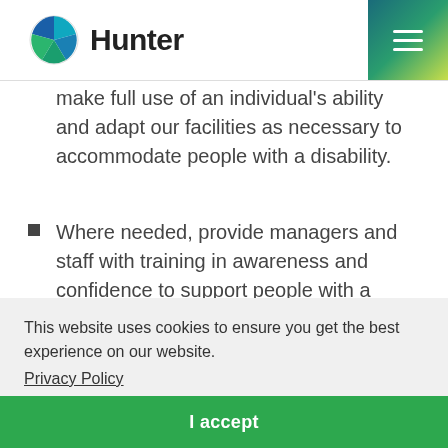Hunter
make full use of an individual's ability and adapt our facilities as necessary to accommodate people with a disability.
Where needed, provide managers and staff with training in awareness and confidence to support people with a disability.
This website uses cookies to ensure you get the best experience on our website. Privacy Policy
I accept
Adhere to guidance from Government and...